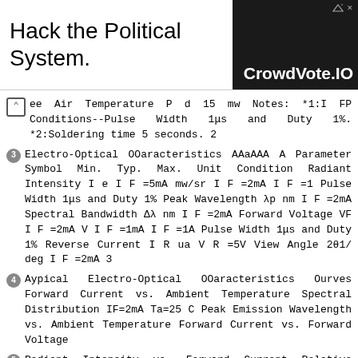[Figure (screenshot): Advertisement banner: 'Hack the Political System.' text on left, 'CrowdVote.IO' logo on dark background on right]
ee Air Temperature P d 15 mw Notes: *1:I FP Conditions--Pulse Width 1μs and Duty 1%. *2:Soldering time 5 seconds. 2
3 Electro-Optical OOaracteristics AAaAAA A Parameter Symbol Min. Typ. Max. Unit Condition Radiant Intensity I e I F =5mA mw/sr I F =2mA I F =1 Pulse Width 1μs and Duty 1% Peak Wavelength λp nm I F =2mA Spectral Bandwidth Δλ nm I F =2mA Forward Voltage VF I F =2mA V I F =1mA I F =1A Pulse Width 1μs and Duty 1% Reverse Current I R ua V R =5V View Angle 2θ1/ deg I F =2mA 3
4 Aypical Electro-Optical OOaracteristics Ourves Forward Current vs. Ambient Temperature Spectral Distribution IF=2mA Ta=25 C Peak Emission Wavelength vs. Ambient Temperature Forward Current vs. Forward Voltage
5 Radiant Intensity vs. Forward Current Relative Radiant Intensity vs. Angular Displacement Ie-Radiant